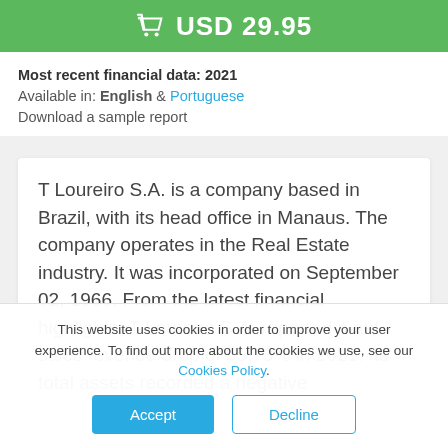USD 29.95
Most recent financial data: 2021
Available in: English & Portuguese
Download a sample report
T Loureiro S.A. is a company based in Brazil, with its head office in Manaus. The company operates in the Real Estate industry. It was incorporated on September 02, 1966. From the latest financial highlights, T Loureiro S.A. reported a net sales revenue drop of 55.73% in 2021. Its' total assets recorded a negative
This website uses cookies in order to improve your user experience. To find out more about the cookies we use, see our Cookies Policy.
Accept
Decline